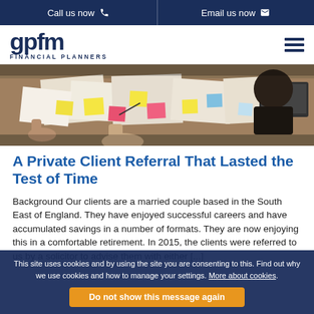Call us now   Email us now
[Figure (logo): GPFM Financial Planners logo with hamburger menu icon]
[Figure (photo): People working around a table covered with papers and colorful sticky notes, viewed from above]
A Private Client Referral That Lasted the Test of Time
Background Our clients are a married couple based in the South East of England. They have enjoyed successful careers and have accumulated savings in a number of formats. They are now enjoying this in a comfortable retirement. In 2015, the clients were referred to us by a solicitor to advise them with either [...]
This site uses cookies and by using the site you are consenting to this. Find out why we use cookies and how to manage your settings. More about cookies. Do not show this message again